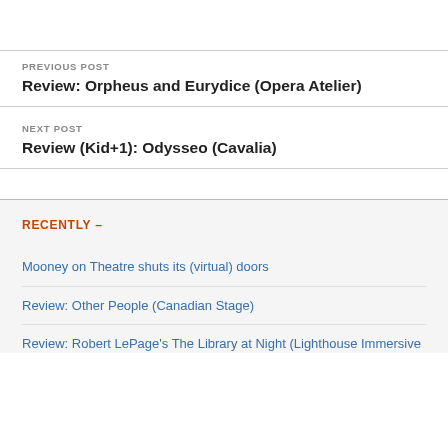PREVIOUS POST
Review: Orpheus and Eurydice (Opera Atelier)
NEXT POST
Review (Kid+1): Odysseo (Cavalia)
RECENTLY –
Mooney on Theatre shuts its (virtual) doors
Review: Other People (Canadian Stage)
Review: Robert LePage's The Library at Night (Lighthouse Immersive